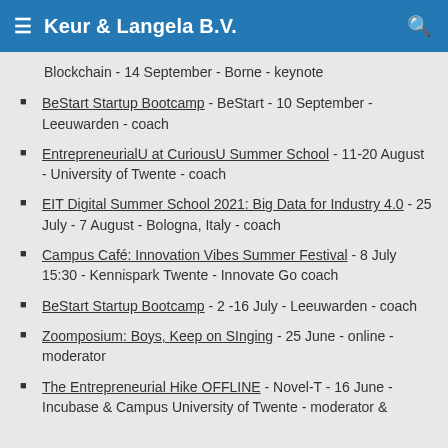Keur & Langela B.V.
Blockchain - 14 September - Borne - keynote
BeStart Startup Bootcamp - BeStart - 10 September - Leeuwarden - coach
EntrepreneurialU at CuriousU Summer School - 11-20 August - University of Twente - coach
EIT Digital Summer School 2021: Big Data for Industry 4.0 - 25 July - 7 August - Bologna, Italy - coach
Campus Café: Innovation Vibes Summer Festival - 8 July 15:30 - Kennispark Twente - Innovate Go coach
BeStart Startup Bootcamp - 2 -16 July - Leeuwarden - coach
Zoomposium: Boys, Keep on SInging - 25 June - online - moderator
The Entrepreneurial Hike OFFLINE - Novel-T - 16 June - Incubase & Campus University of Twente - moderator &